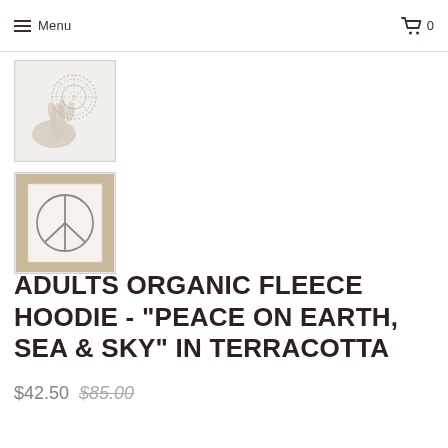Menu  0
[Figure (photo): Thumbnail image of a hand holding a circular lace or embroidered piece]
[Figure (photo): Thumbnail image of a peace sign sketch on paper resting on a wooden surface]
ADULTS ORGANIC FLEECE HOODIE - "PEACE ON EARTH, SEA & SKY" IN TERRACOTTA
$42.50 $85.00